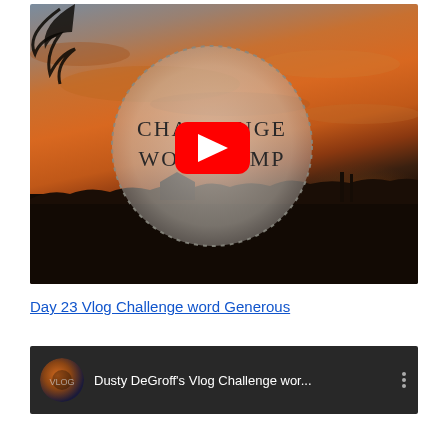[Figure (screenshot): YouTube video thumbnail showing a sunset/sunrise landscape with orange and golden sky, silhouetted trees and buildings on the horizon. A semi-transparent dotted circle overlay in the center contains the text 'CHALLENGE WORD JUMP'. A YouTube play button (red rounded rectangle with white triangle) is centered over the image.]
Day 23 Vlog Challenge word Generous
[Figure (screenshot): YouTube video player bar with dark background showing channel icon (circular avatar with brown/blue tones), video title 'Dusty DeGroff's Vlog Challenge wor...' in white text, and a three-dot menu icon on the right.]